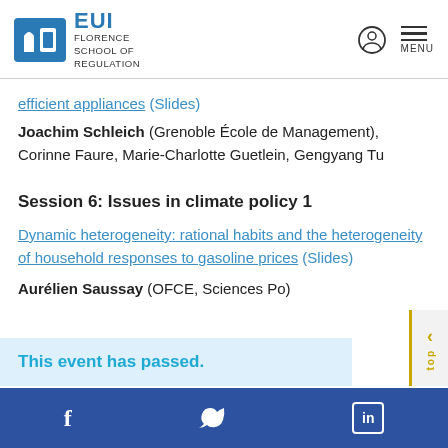EUI Florence School of Regulation
efficient appliances (Slides)
Joachim Schleich (Grenoble École de Management), Corinne Faure, Marie-Charlotte Guetlein, Gengyang Tu
Session 6: Issues in climate policy 1
Dynamic heterogeneity: rational habits and the heterogeneity of household responses to gasoline prices (Slides)
Aurélien Saussay (OFCE, Sciences Po)
This event has passed.
Social links: Facebook, Twitter, LinkedIn